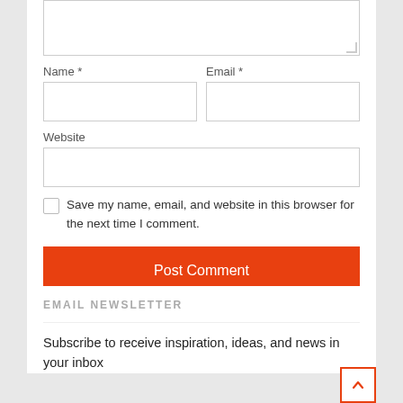[Figure (screenshot): Comment form with textarea (partially visible at top), Name and Email fields side by side, Website field, save checkbox with label, and Post Comment button]
Name *
Email *
Website
Save my name, email, and website in this browser for the next time I comment.
Post Comment
EMAIL NEWSLETTER
Subscribe to receive inspiration, ideas, and news in your inbox